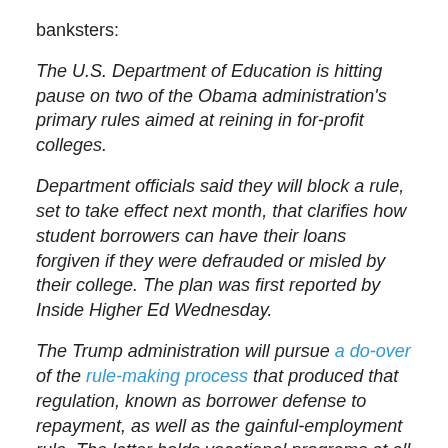banksters:
The U.S. Department of Education is hitting pause on two of the Obama administration's primary rules aimed at reining in for-profit colleges.
Department officials said they will block a rule, set to take effect next month, that clarifies how student borrowers can have their loans forgiven if they were defrauded or misled by their college. The plan was first reported by Inside Higher Ed Wednesday.
The Trump administration will pursue a do-over of the rule-making process that produced that regulation, known as borrower defense to repayment, as well as the gainful-employment rule. The latter holds vocational programs at all institutions and all programs at for-profits accountable